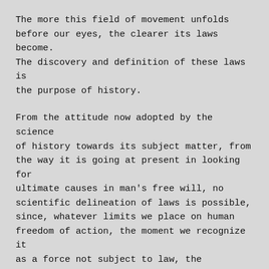The more this field of movement unfolds before our eyes, the clearer its laws become. The discovery and definition of these laws is the purpose of history.
From the attitude now adopted by the science of history towards its subject matter, from the way it is going at present in looking for ultimate causes in man's free will, no scientific delineation of laws is possible, since, whatever limits we place on human freedom of action, the moment we recognize it as a force not subject to law, the existence of any law becomes impossible.
Only by infinitely limiting this freedom of action, reducing it to an infinitesimal minimum, shall we come to know the absolute impossibility of finding any causes, and then, instead of looking for them, history